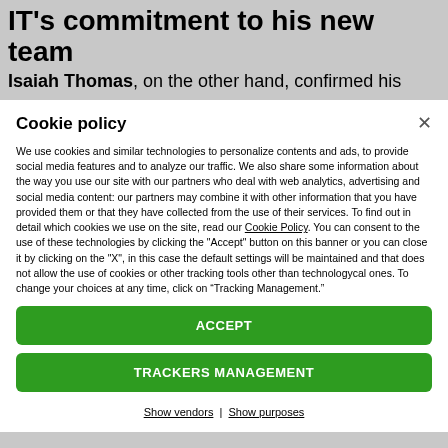IT's commitment to his new team
Isaiah Thomas, on the other hand, confirmed his
Cookie policy
We use cookies and similar technologies to personalize contents and ads, to provide social media features and to analyze our traffic. We also share some information about the way you use our site with our partners who deal with web analytics, advertising and social media content: our partners may combine it with other information that you have provided them or that they have collected from the use of their services. To find out in detail which cookies we use on the site, read our Cookie Policy. You can consent to the use of these technologies by clicking the "Accept" button on this banner or you can close it by clicking on the "X", in this case the default settings will be maintained and that does not allow the use of cookies or other tracking tools other than technologycal ones. To change your choices at any time, click on “Tracking Management.”
ACCEPT
TRACKERS MANAGEMENT
Show vendors | Show purposes